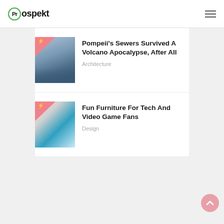Prospekt
[Figure (photo): Thumbnail image for Pompeii article showing ancient ruins against a cloudy sky with a pink triangle badge overlay]
Pompeii's Sewers Survived A Volcano Apocalypse, After All
Architecture
[Figure (photo): Thumbnail image for furniture article showing a blue and white modern furniture piece with a pink triangle badge overlay]
Fun Furniture For Tech And Video Game Fans
Design